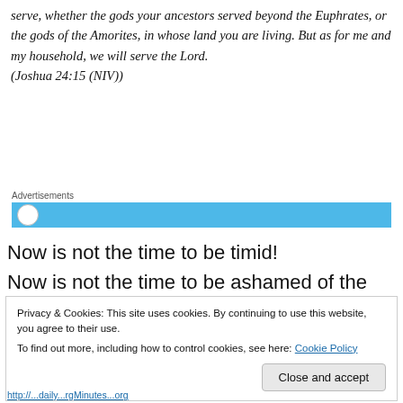serve, whether the gods your ancestors served beyond the Euphrates, or the gods of the Amorites, in whose land you are living. But as for me and my household, we will serve the Lord. (Joshua 24:15 (NIV))
Advertisements
Now is not the time to be timid!
Now is not the time to be ashamed of the Gospel.
Privacy & Cookies: This site uses cookies. By continuing to use this website, you agree to their use.
To find out more, including how to control cookies, see here: Cookie Policy
Close and accept
http://...daily...rgMinutes...org